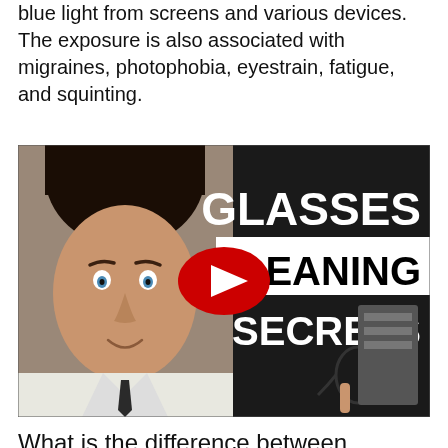blue light from screens and various devices. The exposure is also associated with migraines, photophobia, eyestrain, fatigue, and squinting.
[Figure (screenshot): YouTube video thumbnail showing a young man with curly dark hair and blue eyes holding glasses, with text overlay reading 'GLASSES CLEANING SECRETS' and a red YouTube play button in the center.]
What is the difference between photochromic and transition lenses?